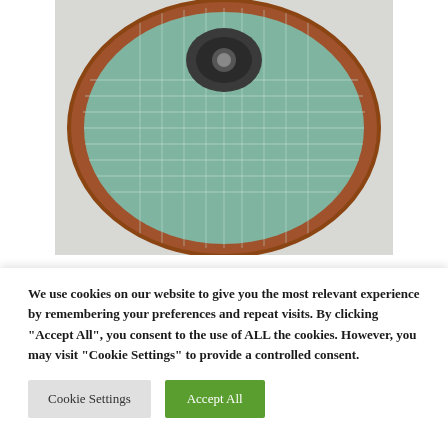[Figure (photo): Top-down view of a decorative copper and mosaic tile sink bowl with turquoise/teal mosaic tile pattern and dark center drain]
If you want an edge kitchen area sink, there are a great deal of options offered on the market so you can select one that's most ideal for the color design or
We use cookies on our website to give you the most relevant experience by remembering your preferences and repeat visits. By clicking "Accept All", you consent to the use of ALL the cookies. However, you may visit "Cookie Settings" to provide a controlled consent.